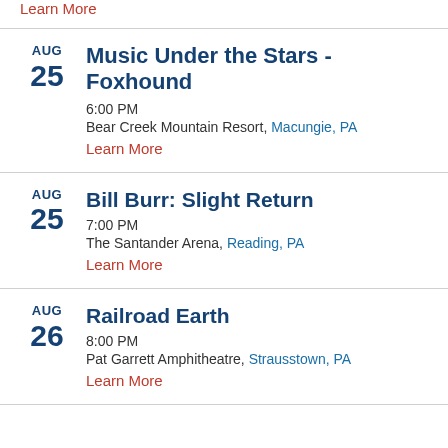Learn More
AUG 25 - Music Under the Stars - Foxhound
6:00 PM
Bear Creek Mountain Resort, Macungie, PA
Learn More
AUG 25 - Bill Burr: Slight Return
7:00 PM
The Santander Arena, Reading, PA
Learn More
AUG 26 - Railroad Earth
8:00 PM
Pat Garrett Amphitheatre, Strausstown, PA
Learn More